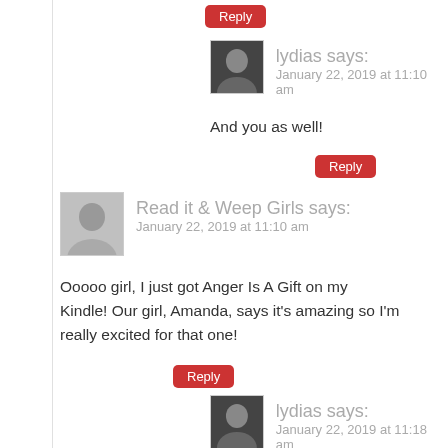Reply
lydias says:
January 22, 2019 at 11:10 am
And you as well!
Reply
Read it & Weep Girls says:
January 22, 2019 at 11:10 am
Ooooo girl, I just got Anger Is A Gift on my Kindle! Our girl, Amanda, says it's amazing so I'm really excited for that one!
Reply
lydias says:
January 22, 2019 at 11:18 am
That's so exciting! I hope you and I both get to read it soon, too.